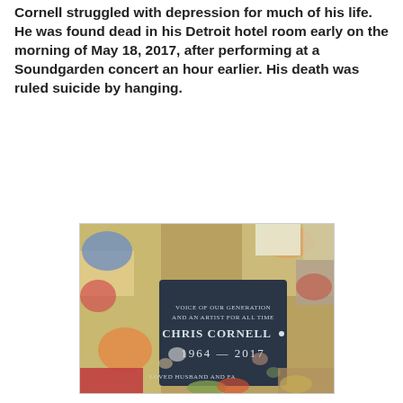Cornell struggled with depression for much of his life. He was found dead in his Detroit hotel room early on the morning of May 18, 2017, after performing at a Soundgarden concert an hour earlier. His death was ruled suicide by hanging.
[Figure (photo): Photograph of Chris Cornell's gravestone covered in flowers and mementos. The dark stone reads: VOICE OF OUR GENERATION AND AN ARTIST FOR ALL TIME / CHRIS CORNELL / 1964 — 2017 / LOVED HUSBAND AND FA[THER]]
Chris Cornell is buried at Hollywood Forever Cemetery in Los Angeles, California.
[Figure (photo): Partial photograph of what appears to be flowers or a memorial at the burial site, cropped at bottom of page.]